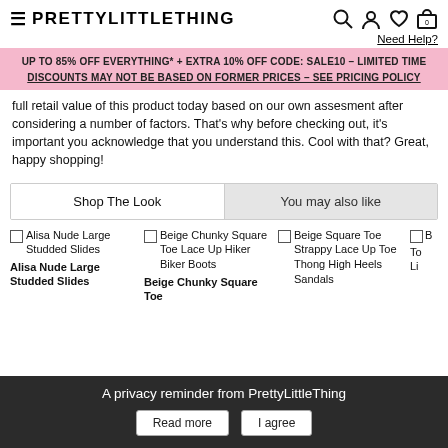≡ PRETTYLITTLETHING
Need Help?
UP TO 85% OFF EVERYTHING* + EXTRA 10% OFF CODE: SALE10 – LIMITED TIME
DISCOUNTS MAY NOT BE BASED ON FORMER PRICES – SEE PRICING POLICY
full retail value of this product today based on our own assesment after considering a number of factors. That's why before checking out, it's important you acknowledge that you understand this. Cool with that? Great, happy shopping!
Shop The Look	You may also like
Alisa Nude Large Studded Slides
Alisa Nude Large Studded Slides
Beige Chunky Square Toe Lace Up Hiker Biker Boots
Beige Chunky Square Toe
Beige Square Toe Strappy Lace Up Toe Thong High Heels Sandals
A privacy reminder from PrettyLittleThing
Read more	I agree